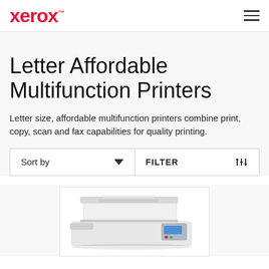xerox™
Letter Affordable Multifunction Printers
Letter size, affordable multifunction printers combine print, copy, scan and fax capabilities for quality printing.
Sort by   ▼   FILTER
[Figure (photo): A Xerox multifunction printer shown from a top-angled view, white/grey body with document feeder and control panel visible.]